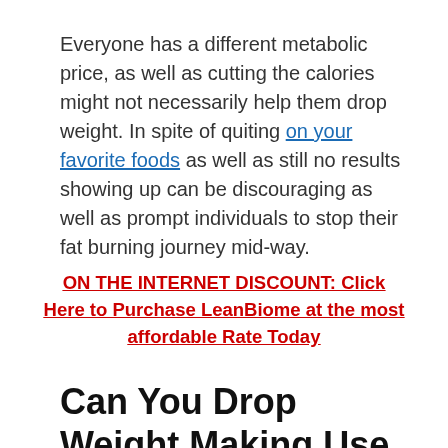Everyone has a different metabolic price, as well as cutting the calories might not necessarily help them drop weight. In spite of quiting on your favorite foods as well as still no results showing up can be discouraging as well as prompt individuals to stop their fat burning journey mid-way.
ON THE INTERNET DISCOUNT: Click Here to Purchase LeanBiome at the most affordable Rate Today
Can You Drop Weight Making Use Of Probiotics?